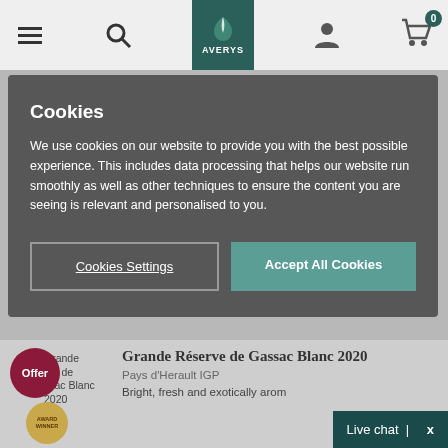[Figure (screenshot): Averys wine merchant website navigation bar with hamburger menu, search icon, Averys logo (dark teal), user/account icon, and shopping cart icon with badge showing 0]
Cookies
We use cookies on our website to provide you with the best possible experience. This includes data processing that helps our website run smoothly as well as other techniques to ensure the content you are seeing is relevant and personalised to you.
Cookies Settings
Accept All Cookies
Grande Réserve de Gassac Blanc 2020
Pays d'Herault IGP
Bright, fresh and exotically arom
Live chat